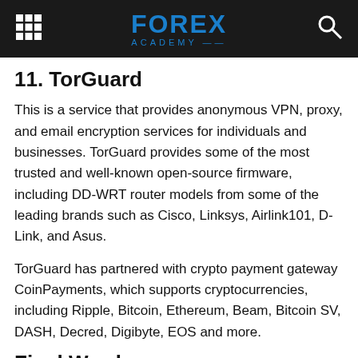FOREX ACADEMY
11. TorGuard
This is a service that provides anonymous VPN, proxy, and email encryption services for individuals and businesses. TorGuard provides some of the most trusted and well-known open-source firmware, including DD-WRT router models from some of the leading brands such as Cisco, Linksys, Airlink101, D-Link, and Asus.
TorGuard has partnered with crypto payment gateway CoinPayments, which supports cryptocurrencies, including Ripple, Bitcoin, Ethereum, Beam, Bitcoin SV, DASH, Decred, Digibyte, EOS and more.
Final Words
Thanks to a number of crypto payment gateways supporting Ripple, the crypto's fans can now use it to pay for a whole lot of services.